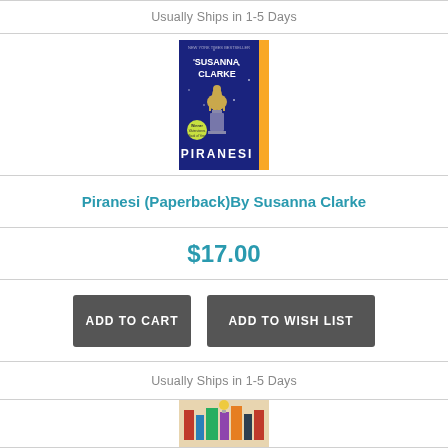Usually Ships in 1-5 Days
[Figure (photo): Book cover of Piranesi by Susanna Clarke — blue background with a centaur statue on a column, yellow spine, New York Times bestseller banner, Winner Waterstones Book of the Year sticker]
Piranesi (Paperback)By Susanna Clarke
$17.00
ADD TO CART  ADD TO WISH LIST
Usually Ships in 1-5 Days
[Figure (photo): Partially visible book cover image at the bottom of the page]